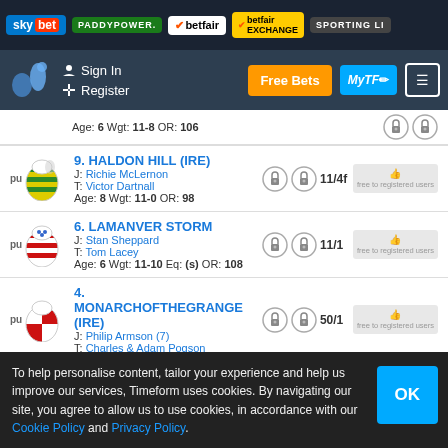sky bet | PADDYPOWER | betfair | betfair EXCHANGE | SPORTING LI...
Sign In | Register | Free Bets | MyTF | Menu
Age: 6 Wgt: 11-8 OR: 106
9. HALDON HILL (IRE)
J: Richie McLernon
T: Victor Dartnall
Age: 8 Wgt: 11-0 OR: 98
11/4f
6. LAMANVER STORM
J: Stan Sheppard
T: Tom Lacey
Age: 6 Wgt: 11-10 Eq: (s) OR: 108
11/1
4. MONARCHOFTHEGRANGE (IRE)
J: Philip Armson (7)
T: Charles & Adam Pogson
50/1
To help personalise content, tailor your experience and help us improve our services, Timeform uses cookies. By navigating our site, you agree to allow us to use cookies, in accordance with our Cookie Policy and Privacy Policy.